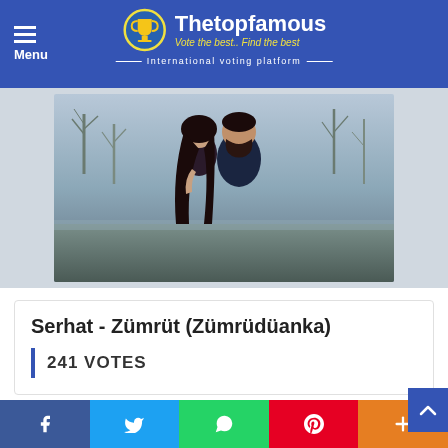Menu | Thetopfamous — Vote the best.. Find the best — International voting platform
[Figure (photo): A couple standing back-to-back outdoors. A young woman with long dark hair looks over her shoulder; a bearded man looks forward. Muted outdoor background with bare trees.]
Serhat - Zümrüt (Zümrüdüanka)
241 VOTES